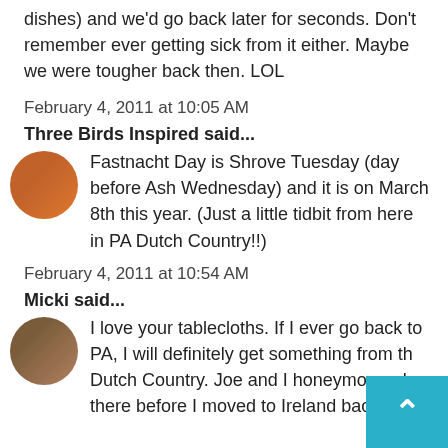dishes) and we'd go back later for seconds. Don't remember ever getting sick from it either. Maybe we were tougher back then. LOL
February 4, 2011 at 10:05 AM
Three Birds Inspired said...
Fastnacht Day is Shrove Tuesday (day before Ash Wednesday) and it is on March 8th this year. (Just a little tidbit from here in PA Dutch Country!!)
February 4, 2011 at 10:54 AM
Micki said...
I love your tablecloths. If I ever go back to PA, I will definitely get something from the Dutch Country. Joe and I honeymooned there before I moved to Ireland back in